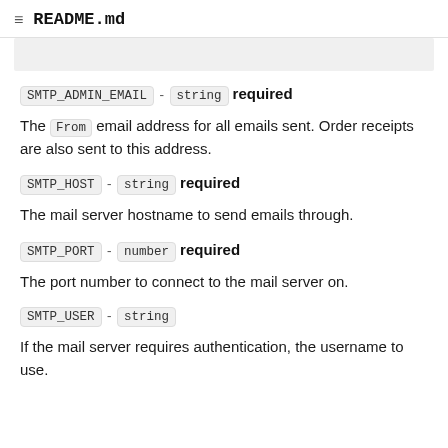README.md
[Figure (screenshot): Partial screenshot of a code block or table row, cut off at top of page]
SMTP_ADMIN_EMAIL - string required
The From email address for all emails sent. Order receipts are also sent to this address.
SMTP_HOST - string required
The mail server hostname to send emails through.
SMTP_PORT - number required
The port number to connect to the mail server on.
SMTP_USER - string
If the mail server requires authentication, the username to use.